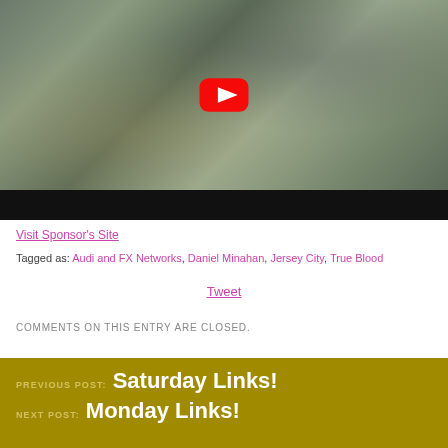[Figure (screenshot): Embedded YouTube video player showing a scene with people on a bed, with YouTube play button overlay and black controls bar at bottom]
Visit Sponsor's Site
Tagged as: Audi and FX Networks, Daniel Minahan, Jersey City, True Blood
Tweet
COMMENTS ON THIS ENTRY ARE CLOSED.
PREVIOUS POST: Saturday Links!
NEXT POST: Monday Links!